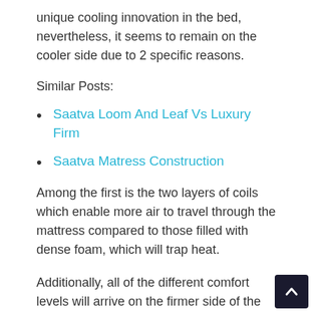unique cooling innovation in the bed, nevertheless, it seems to remain on the cooler side due to 2 specific reasons.
Similar Posts:
Saatva Loom And Leaf Vs Luxury Firm
Saatva Matress Construction
Among the first is the two layers of coils which enable more air to travel through the mattress compared to those filled with dense foam, which will trap heat.
Additionally, all of the different comfort levels will arrive on the firmer side of the spectrum. This simply implies that a variety of sleepers are going to sleep more on the top of the mattress. This is going to feel like a huge hug as opposed to the heat one